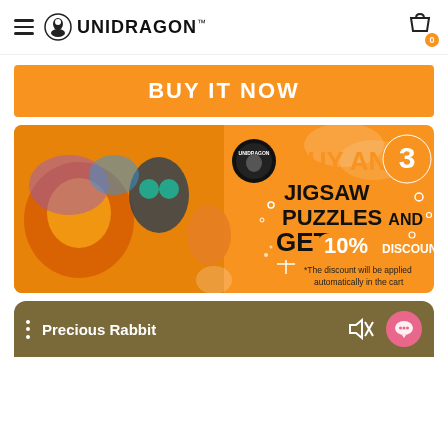UNIDRAGON™
BUY IT NOW
[Figure (illustration): Promotional banner: colorful animal jigsaw puzzle pieces (lion, owl, fox) on orange background. Text reads 'BUY ANY 3 JIGSAW PUZZLES AND GET 10% DISCOUNT *The discount will be applied automatically in the cart']
Precious Rabbit